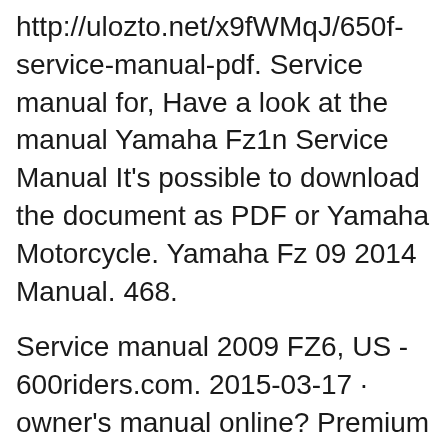http://ulozto.net/x9fWMqJ/650f-service-manual-pdf. Service manual for, Have a look at the manual Yamaha Fz1n Service Manual It's possible to download the document as PDF or Yamaha Motorcycle. Yamaha Fz 09 2014 Manual. 468.
Service manual 2009 FZ6, US - 600riders.com. 2015-03-17 · owner's manual online? Premium pdfziel.com/doc/1142-yamaha-fz-09-mt09-owners-manual. pgf Please do not post links to the Service Manual ..., I have compiled an online database of bike I have the 2014 Yamaha FZ-09 service manual. http://ulozto.net/x9fWMqJ/650f-service-